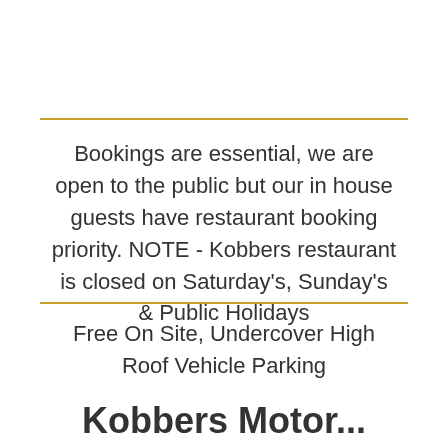Bookings are essential, we are open to the public but our in house guests have restaurant booking priority. NOTE - Kobbers restaurant is closed on Saturday's, Sunday's & Public Holidays
Free On Site, Undercover High Roof Vehicle Parking
Kobbers Motor...